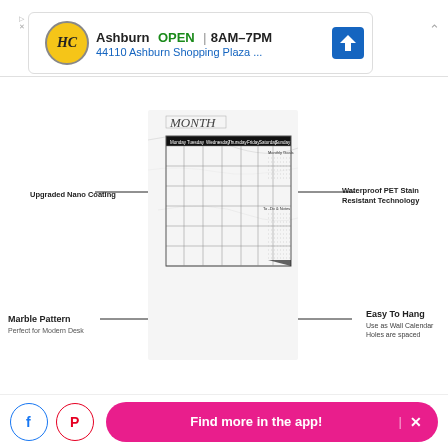[Figure (screenshot): Ad banner for HC store in Ashburn, showing OPEN 8AM-7PM, address 44110 Ashburn Shopping Plaza]
[Figure (photo): Product image of a marble pattern monthly calendar/whiteboard with labels: Upgraded Nano Coating, Waterproof PET Stain Resistant Technology, Marble Pattern Perfect for Modern Desk, Easy To Hang, Monthly Goals & To-Do Lists, Generous Writing Space, Premium Magnetic Backing]
Amazon
[Figure (screenshot): Bottom app bar with Facebook icon, Pinterest icon, and pink 'Find more in the app!' button with X]